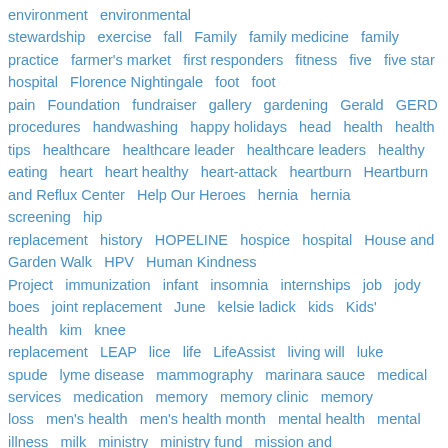environment   environmental stewardship   exercise   fall   Family   family medicine   family practice   farmer's market   first responders   fitness   five   five star hospital   Florence Nightingale   foot   foot pain   Foundation   fundraiser   gallery   gardening   Gerald   GERD   gynecological procedures   handwashing   happy holidays   head   health   health tips   healthcare   healthcare leader   healthcare leaders   healthy eating   heart   heart healthy   heart-attack   heartburn   Heartburn and Reflux Center   Help Our Heroes   hernia   hernia screening   hip replacement   history   HOPELINE   hospice   hospital   House and Garden Walk   HPV   Human Kindness Project   immunization   infant   insomnia   internships   job   jody boes   joint replacement   June   kelsie ladick   kids   Kids' health   kim   knee replacement   LEAP   lice   life   LifeAssist   living will   luke spude   lyme disease   mammography   marinara sauce   medical services   medication   memory   memory clinic   memory loss   men's health   men's health month   mental health   mental illness   milk   ministry   ministry fund   mission and values   MRI   National Donate Life Month   national heath decisions day